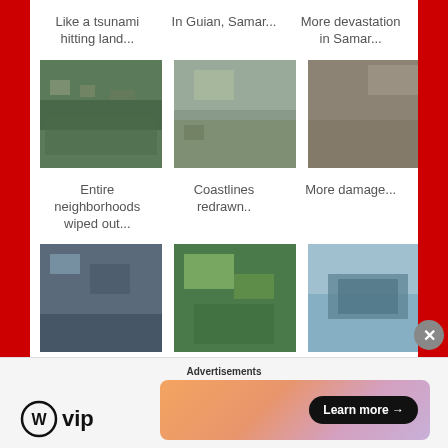Like a tsunami hitting land...
In Guian, Samar...
More devastation in Samar...
[Figure (photo): Aerial view of typhoon devastation, destroyed neighborhoods]
[Figure (photo): Aerial view of coastline damage from typhoon]
[Figure (photo): Aerial view of more typhoon damage]
Entire neighborhoods wiped out...
Coastlines redrawn..
More damage...
[Figure (photo): Aerial view of flooded and destroyed urban area]
[Figure (photo): Aerial view of green fields with scattered debris]
[Figure (photo): Ships grounded in harbor]
Everyone was affected...
Iloilo featured...
Ships grounded on the shore...
Advertisements
[Figure (logo): WordPress VIP logo]
[Figure (infographic): Advertisement banner with Learn more button]